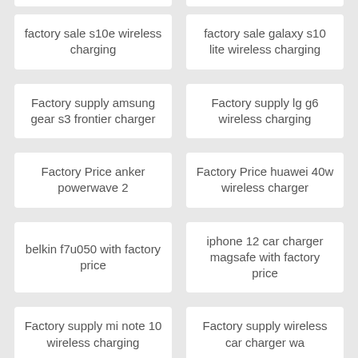factory sale s10e wireless charging
factory sale galaxy s10 lite wireless charging
Factory supply amsung gear s3 frontier charger
Factory supply lg g6 wireless charging
Factory Price anker powerwave 2
Factory Price huawei 40w wireless charger
belkin f7u050 with factory price
iphone 12 car charger magsafe with factory price
Factory supply mi note 10 wireless charging
Factory supply wireless car charger wa